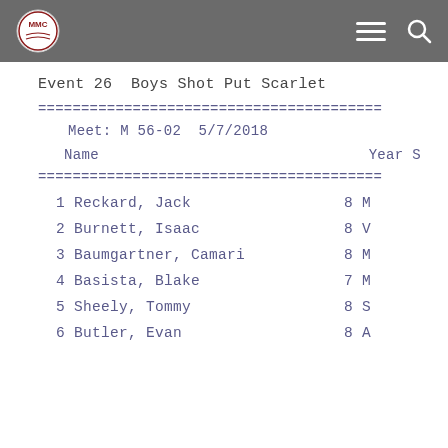MMC logo, navigation menu and search icons
Event 26  Boys Shot Put Scarlet
========================================
Meet: M 56-02  5/7/2018
Name                                    Year S
========================================
1 Reckard, Jack          8 M
2 Burnett, Isaac         8 V
3 Baumgartner, Camari    8 M
4 Basista, Blake         7 M
5 Sheely, Tommy          8 S
6 Butler, Evan           8 A